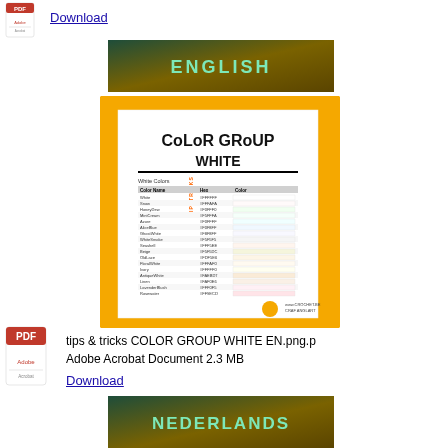[Figure (logo): Small PDF/Adobe Acrobat icon at top left]
Download
[Figure (screenshot): Preview image of 'Color Group White' document with orange border frame on English banner background, showing a table of white color names and hex codes]
[Figure (logo): Larger PDF/Adobe Acrobat icon]
tips & tricks COLOR GROUP WHITE EN.png.p
Adobe Acrobat Document 2.3 MB
Download
[Figure (illustration): Nederlands banner with teal-to-gold gradient and 'NEDERLANDS' text in mint green]